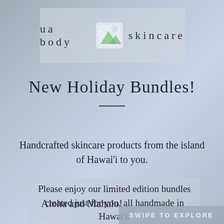ua body  skincare
New Holiday Bundles!
Handcrafted skincare products from the island of Hawai'i to you.
Please enjoy our limited edition bundles created just for you, all handmade in Hawai'i.
Aloha and Mahalo!
SWIPE TO EXPLORE